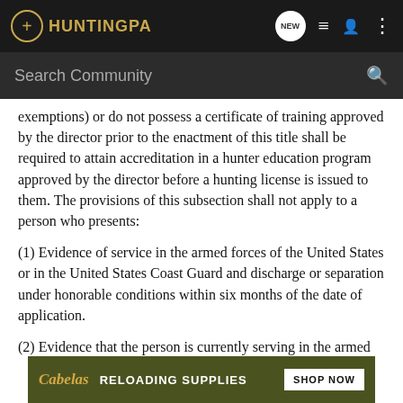HuntingPA — Search Community
exemptions) or do not possess a certificate of training approved by the director prior to the enactment of this title shall be required to attain accreditation in a hunter education program approved by the director before a hunting license is issued to them. The provisions of this subsection shall not apply to a person who presents:
(1) Evidence of service in the armed forces of the United States or in the United States Coast Guard and discharge or separation under honorable conditions within six months of the date of application.
(2) Evidence that the person is currently serving in the armed forces of … Guard.
[Figure (other): Cabela's advertisement banner: Reloading Supplies — Shop Now]